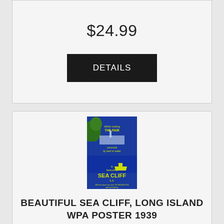$24.99
DETAILS
[Figure (illustration): Vintage WPA travel poster for Sea Cliff, Long Island, 1939. Blue and green/yellow color scheme. Text reads: While visiting THE FAIR, commute by land or water, to beautiful SEA CLIFF L.I., 200 feet above sea level, NO MOSQUITOS, golf and bathing.]
BEAUTIFUL SEA CLIFF, LONG ISLAND WPA POSTER 1939